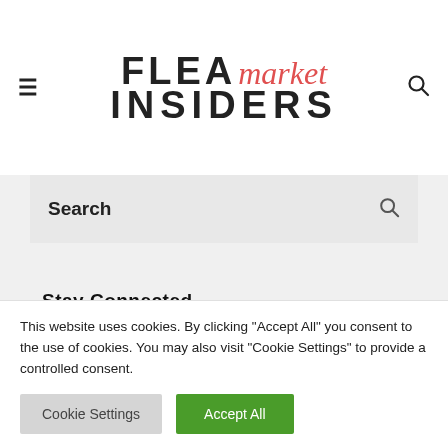FLEA market INSIDERS
Search
Stay Connected
[Figure (infographic): Social media icons: Facebook, Instagram, Twitter]
This website uses cookies. By clicking "Accept All" you consent to the use of cookies. You may also visit "Cookie Settings" to provide a controlled consent.
Cookie Settings | Accept All